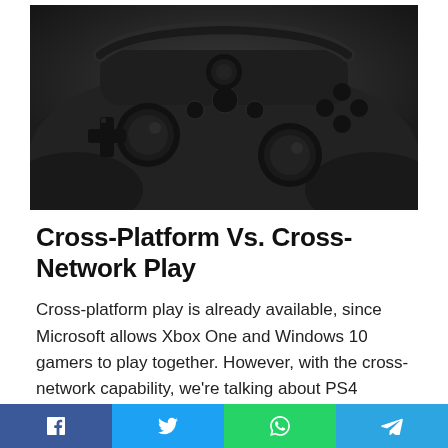[Figure (photo): Close-up photo of a black Xbox One controller on a white background, showing the D-pad, bumper, and thumbsticks from a slightly elevated angle.]
Cross-Platform Vs. Cross-Network Play
Cross-platform play is already available, since Microsoft allows Xbox One and Windows 10 gamers to play together. However, with the cross-network capability, we're talking about PS4 owners being able to play against their Xbox One counterparts, in spite of the difference in systems. Breaching the boundaries between rival consoles like the Xbox One and PS4 has never occurred on this level before.
[Figure (infographic): Social sharing bar at the bottom of the page with four buttons: Facebook (blue), Twitter (light blue), WhatsApp (green), Telegram (blue).]